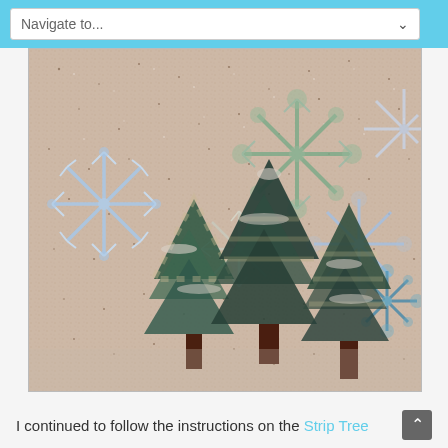Navigate to...
[Figure (photo): A quilted wall hanging featuring a winter scene with holographic/iridescent snowflake embellishments on a speckled pink/beige fabric background, with strip-pieced Christmas trees in teal and striped fabrics with dark brown trunks at the bottom.]
I continued to follow the instructions on the Strip Tree